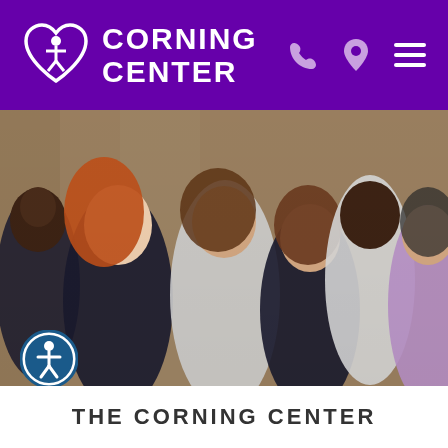Corning Center
[Figure (photo): Group photo of six diverse medical professionals smiling with arms crossed, wearing dark scrubs, white lab coats, and light purple scrubs, against a warm wood-paneled background]
[Figure (logo): Accessibility icon - circular blue badge with a person figure]
THE CORNING CENTER